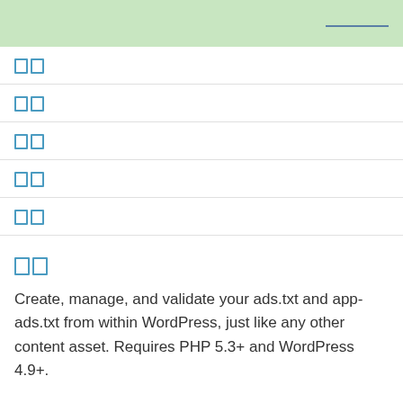□□
□□
□□
□□
□□
□□
Create, manage, and validate your ads.txt and app-ads.txt from within WordPress, just like any other content asset. Requires PHP 5.3+ and WordPress 4.9+.